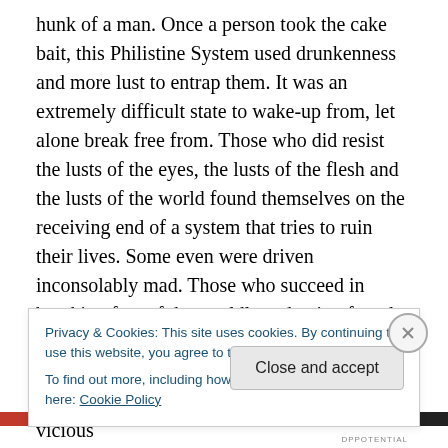hunk of a man. Once a person took the cake bait, this Philistine System used drunkenness and more lust to entrap them. It was an extremely difficult state to wake-up from, let alone break free from. Those who did resist the lusts of the eyes, the lusts of the flesh and the lusts of the world found themselves on the receiving end of a system that tries to ruin their lives. Some even were driven inconsolably mad. Those who succeed in breaking free of the worldly seduction found themselves intimidated with threats of death and were extorted financially. At the finale of my dream, I had to take authority over some vicious
Privacy & Cookies: This site uses cookies. By continuing to use this website, you agree to their use.
To find out more, including how to control cookies, see here: Cookie Policy
Close and accept
DPPOTENTIAL